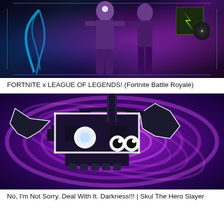[Figure (screenshot): Fortnite x League of Legends promotional artwork showing a female character in purple outfit with blue braided hair, glowing effects, and a vinyl record on dark background]
FORTNITE x LEAGUE OF LEGENDS! (Fortnite Battle Royale)
[Figure (screenshot): Skul The Hero Slayer game screenshot showing a pixel art bat-like skull character with glowing eyes against a purple swirling vortex background]
No, I'm Not Sorry. Deal With It. Darkness!!! | Skul The Hero Slayer